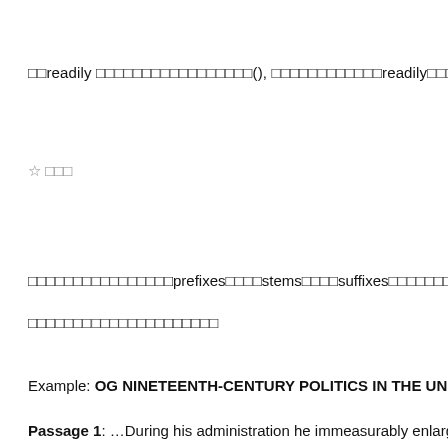□□readily □□□□□□□□□□□□□□□□□(), □□□□□□□□□□□□readily□□□□□□□easily□
☆ □□□
□□□□□□□□□□□□□□□□prefixes□□□□stems□□□□suffixes□□□□□□□□□□□□□□□□□□□□□□□□□□□□□□□□□□□□□□□□□□□□□□□
□□□□□□□□□□□□□□□□□□□□□
Example: OG NINETEENTH-CENTURY POLITICS IN THE UNITED S
Passage 1: …During his administration he immeasurably enlarged the power o